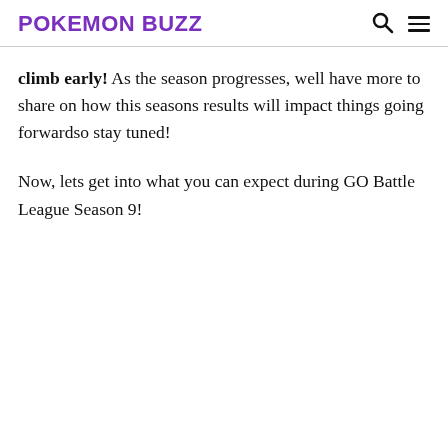POKEMON BUZZ
climb early! As the season progresses, well have more to share on how this seasons results will impact things going forwardso stay tuned!

Now, lets get into what you can expect during GO Battle League Season 9!